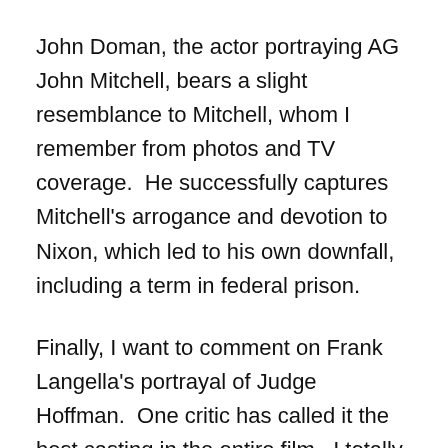John Doman, the actor portraying AG John Mitchell, bears a slight resemblance to Mitchell, whom I remember from photos and TV coverage.  He successfully captures Mitchell's arrogance and devotion to Nixon, which led to his own downfall, including a term in federal prison.
Finally, I want to comment on Frank Langella's portrayal of Judge Hoffman.  One critic has called it the best casting in the entire film.  I totally disagree.  I worked closely with Judge Hoffman for two years, and Langella's Hoffman is nothing like the real man.  Hoffman was eccentric and generally biased in favor of government prosecutors, but he was not evil.
Langella may be a good actor, but he read his lines in this film with his own interpretation of the judge in mind.  Maybe that made for better drama.  But it's not, in my